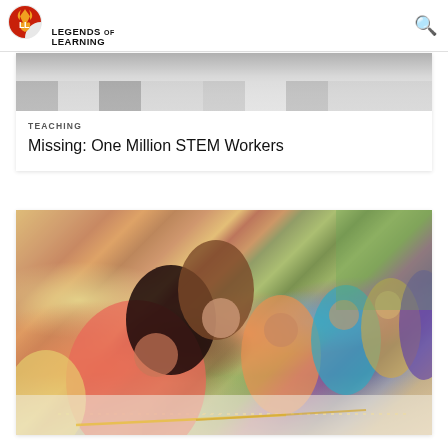[Figure (logo): Legends of Learning logo — circular red/orange icon with 'LL' monogram and stylized flame, with text 'LEGENDS OF LEARNING' to the right]
[Figure (photo): Partial top view of a classroom, grayscale, showing desks and chairs]
TEACHING
Missing: One Million STEM Workers
[Figure (photo): Group of diverse elementary school students sitting at desks writing with pencils, with a teacher leaning over to help; students wear brightly colored shirts (pink, orange, teal, purple); shot at a shallow depth of field]